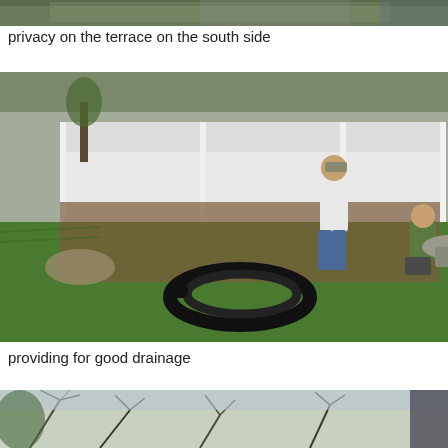[Figure (photo): Partial view of a garden or terrace area, top portion of the page, cropped]
privacy on the terrace on the south side
[Figure (photo): Two workers in a backyard garden with a white vinyl fence. One man is standing in jeans and a white shirt, another is kneeling, working with black drainage tubing. A coiled black corrugated drainage pipe is visible on the green grass in the foreground. Mulched planting beds line the fence.]
providing for good drainage
[Figure (photo): Partial view of bare tree branches and garden area, bottom portion of the page, cropped]